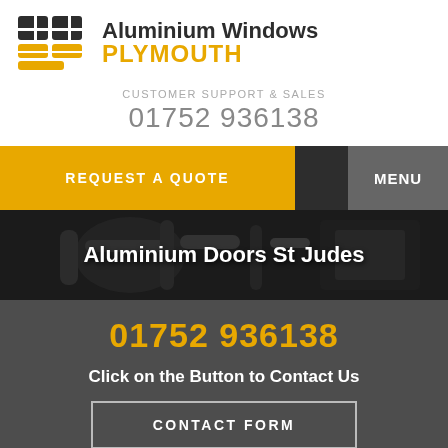[Figure (logo): Aluminium Windows Plymouth logo with yellow and black grid/window icon and company name]
CUSTOMER SUPPORT & SALES
01752 936138
REQUEST A QUOTE
MENU
[Figure (photo): Close-up photo of dark aluminium door handle and frame in dark grey/black tones]
Aluminium Doors St Judes
01752 936138
Click on the Button to Contact Us
CONTACT FORM